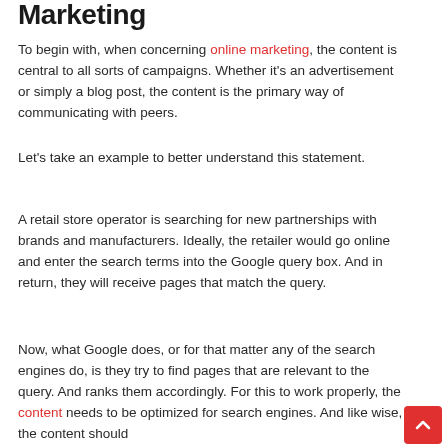Marketing
To begin with, when concerning online marketing, the content is central to all sorts of campaigns. Whether it's an advertisement or simply a blog post, the content is the primary way of communicating with peers.
Let's take an example to better understand this statement.
A retail store operator is searching for new partnerships with brands and manufacturers. Ideally, the retailer would go online and enter the search terms into the Google query box. And in return, they will receive pages that match the query.
Now, what Google does, or for that matter any of the search engines do, is they try to find pages that are relevant to the query. And ranks them accordingly. For this to work properly, the content needs to be optimized for search engines. And like wise, the content should...